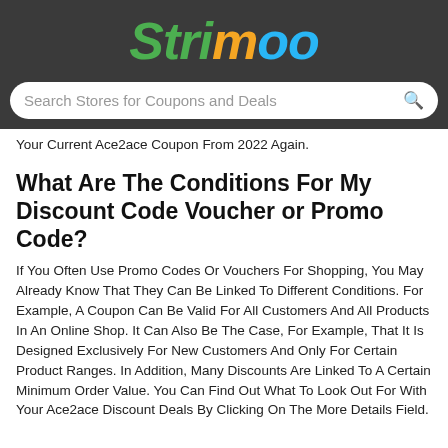Strimoo
Search Stores for Coupons and Deals
Your Current Ace2ace Coupon From 2022 Again.
What Are The Conditions For My Discount Code Voucher or Promo Code?
If You Often Use Promo Codes Or Vouchers For Shopping, You May Already Know That They Can Be Linked To Different Conditions. For Example, A Coupon Can Be Valid For All Customers And All Products In An Online Shop. It Can Also Be The Case, For Example, That It Is Designed Exclusively For New Customers And Only For Certain Product Ranges. In Addition, Many Discounts Are Linked To A Certain Minimum Order Value. You Can Find Out What To Look Out For With Your Ace2ace Discount Deals By Clicking On The More Details Field.